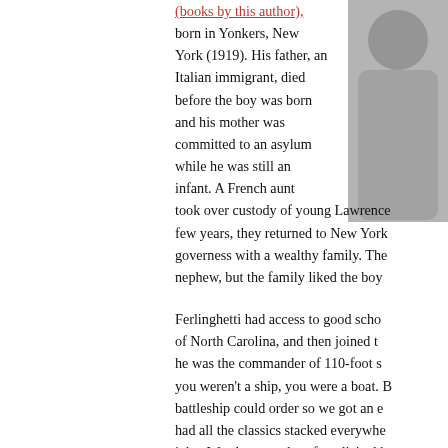[Figure (photo): Black and white photograph of a person, partially visible on the right side of the page]
(books by this author), born in Yonkers, New York (1919). His father, an Italian immigrant, died before the boy was born and his mother was committed to an asylum while he was still an infant. A French aunt took over custody of young Lawrence few years, they returned to New York governess with a wealthy family. The nephew, but the family liked the boy
Ferlinghetti had access to good schools of North Carolina, and then joined the he was the commander of 110-foot s you weren't a ship, you were a boat. B battleship could order so we got an e had all the classics stacked everywhe john. We also got a lot of medicinal b